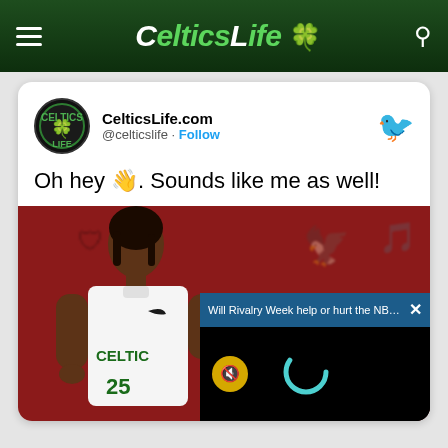CelticsLife
[Figure (screenshot): Screenshot of a CelticsLife.com tweet. Shows the account name CelticsLife.com, handle @celticslife with a Follow link, and tweet text: Oh hey 👋. Sounds like me as well! Below is a photo of a Celtics player in a white Celtics jersey number 25, posed in front of a red background with NBA team logos. A video overlay popup appears in the bottom right with title 'Will Rivalry Week help or hurt the NBA R...' with an X close button, a muted (yellow) icon, and a loading spinner on a black background.]